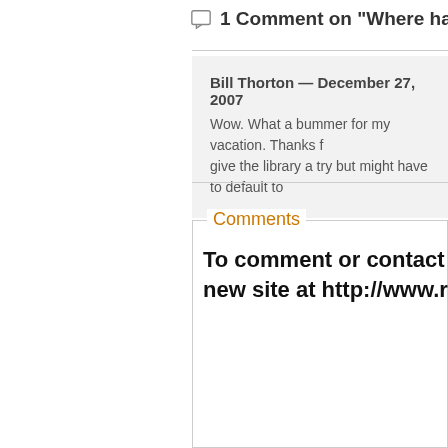1 Comment on "Where have all the mo
Bill Thorton — December 27, 2007
Wow. What a bummer for my vacation. Thanks f give the library a try but might have to default to
Comments
To comment or contact us, p new site at http://www.realva